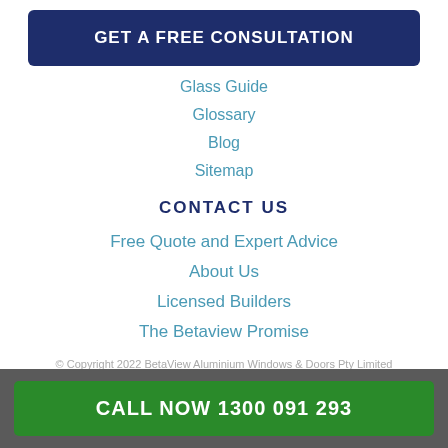GET A FREE CONSULTATION
Glass Guide
Glossary
Blog
Sitemap
CONTACT US
Free Quote and Expert Advice
About Us
Licensed Builders
The Betaview Promise
© Copyright 2022 BetaView Aluminium Windows & Doors Pty Limited
Privacy Policy | Terms & Conditions
CALL NOW 1300 091 293